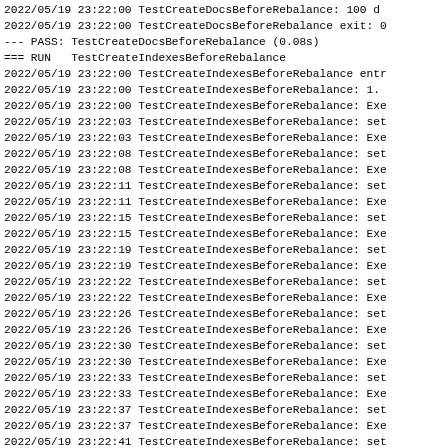2022/05/19 23:22:00 TestCreateDocsBeforeRebalance: 100 d
2022/05/19 23:22:00 TestCreateDocsBeforeRebalance exit: 0
--- PASS: TestCreateDocsBeforeRebalance (0.08s)
=== RUN   TestCreateIndexesBeforeRebalance
2022/05/19 23:22:00 TestCreateIndexesBeforeRebalance entr
2022/05/19 23:22:00 TestCreateIndexesBeforeRebalance: 1.
2022/05/19 23:22:00 TestCreateIndexesBeforeRebalance: Exe
2022/05/19 23:22:03 TestCreateIndexesBeforeRebalance: set
2022/05/19 23:22:03 TestCreateIndexesBeforeRebalance: Exe
2022/05/19 23:22:08 TestCreateIndexesBeforeRebalance: set
2022/05/19 23:22:08 TestCreateIndexesBeforeRebalance: Exe
2022/05/19 23:22:11 TestCreateIndexesBeforeRebalance: set
2022/05/19 23:22:11 TestCreateIndexesBeforeRebalance: Exe
2022/05/19 23:22:15 TestCreateIndexesBeforeRebalance: set
2022/05/19 23:22:15 TestCreateIndexesBeforeRebalance: Exe
2022/05/19 23:22:19 TestCreateIndexesBeforeRebalance: set
2022/05/19 23:22:19 TestCreateIndexesBeforeRebalance: Exe
2022/05/19 23:22:22 TestCreateIndexesBeforeRebalance: set
2022/05/19 23:22:22 TestCreateIndexesBeforeRebalance: Exe
2022/05/19 23:22:26 TestCreateIndexesBeforeRebalance: set
2022/05/19 23:22:26 TestCreateIndexesBeforeRebalance: Exe
2022/05/19 23:22:30 TestCreateIndexesBeforeRebalance: set
2022/05/19 23:22:30 TestCreateIndexesBeforeRebalance: Exe
2022/05/19 23:22:33 TestCreateIndexesBeforeRebalance: set
2022/05/19 23:22:33 TestCreateIndexesBeforeRebalance: Exe
2022/05/19 23:22:37 TestCreateIndexesBeforeRebalance: set
2022/05/19 23:22:37 TestCreateIndexesBeforeRebalance: Exe
2022/05/19 23:22:41 TestCreateIndexesBeforeRebalance: set
2022/05/19 23:22:41 TestCreateIndexesBeforeRebalance: Exe
2022/05/19 23:22:44 TestCreateIndexesBeforeRebalance: set
2022/05/19 23:22:44 TestCreateIndexesBeforeRebalance: Exe